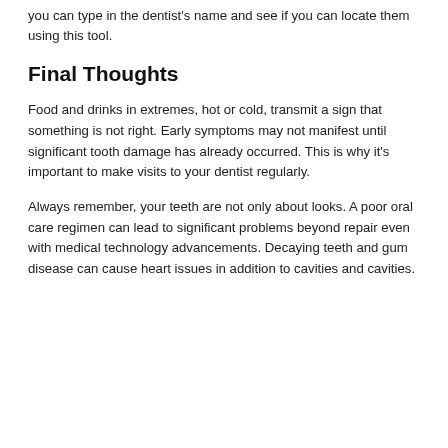you can type in the dentist's name and see if you can locate them using this tool.
Final Thoughts
Food and drinks in extremes, hot or cold, transmit a sign that something is not right. Early symptoms may not manifest until significant tooth damage has already occurred. This is why it's important to make visits to your dentist regularly.
Always remember, your teeth are not only about looks. A poor oral care regimen can lead to significant problems beyond repair even with medical technology advancements. Decaying teeth and gum disease can cause heart issues in addition to cavities and cavities.